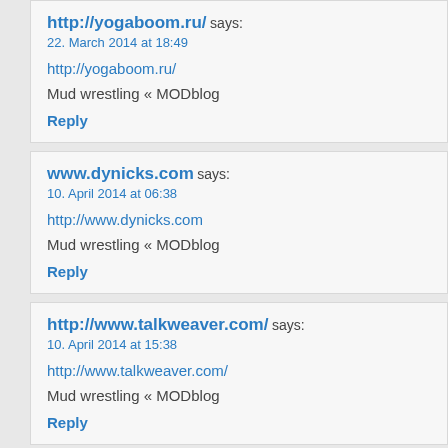http://yogaboom.ru/ says:
22. March 2014 at 18:49
http://yogaboom.ru/
Mud wrestling « MODblog
Reply
www.dynicks.com says:
10. April 2014 at 06:38
http://www.dynicks.com
Mud wrestling « MODblog
Reply
http://www.talkweaver.com/ says:
10. April 2014 at 15:38
http://www.talkweaver.com/
Mud wrestling « MODblog
Reply
jeux de guerre gratuit says:
13. April 2014 at 04:19
jeux de guerre gratuit